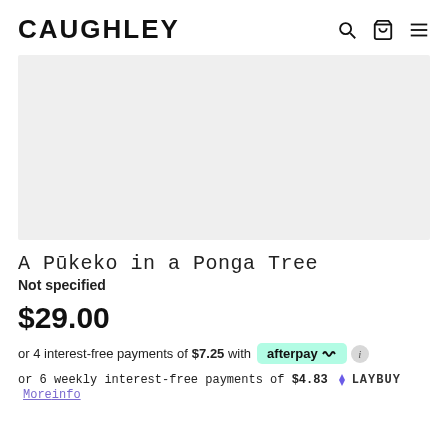CAUGHLEY
[Figure (photo): Product image placeholder — light grey rectangle]
A Pūkeko in a Ponga Tree
Not specified
$29.00
or 4 interest-free payments of $7.25 with afterpay
or 6 weekly interest-free payments of $4.83 LAYBUY More info